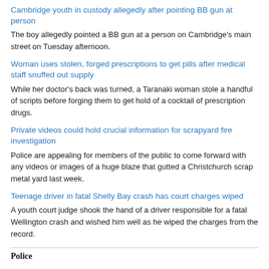Cambridge youth in custody allegedly after pointing BB gun at person
The boy allegedly pointed a BB gun at a person on Cambridge's main street on Tuesday afternoon.
Woman uses stolen, forged prescriptions to get pills after medical staff snuffed out supply
While her doctor's back was turned, a Taranaki woman stole a handful of scripts before forging them to get hold of a cocktail of prescription drugs.
Private videos could hold crucial information for scrapyard fire investigation
Police are appealing for members of the public to come forward with any videos or images of a huge blaze that gutted a Christchurch scrap metal yard last week.
Teenage driver in fatal Shelly Bay crash has court charges wiped
A youth court judge shook the hand of a driver responsible for a fatal Wellington crash and wished him well as he wiped the charges from the record.
Police